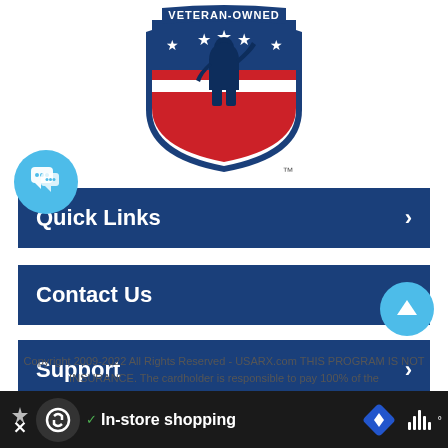[Figure (logo): Veteran-Owned shield logo with silhouette of soldier saluting, stars, and red/white stripes. TM mark below.]
Quick Links ›
Contact Us ›
Support ›
Copyright 2009-2022 All Rights Reserved - USARX.com THIS PROGRAM IS NOT INSURANCE. The cardholder is responsible to pay 100% of the
[Figure (screenshot): Mobile browser bottom bar with loop icon, checkmark, In-store shopping text, blue diamond navigation icon, and sound wave icon]